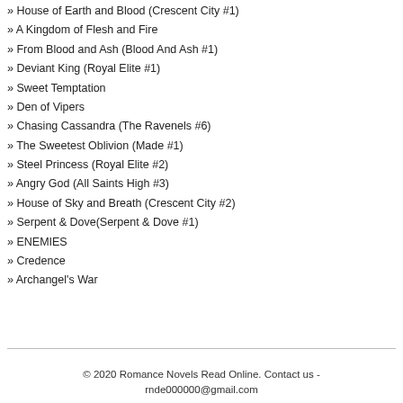» House of Earth and Blood (Crescent City #1)
» A Kingdom of Flesh and Fire
» From Blood and Ash (Blood And Ash #1)
» Deviant King (Royal Elite #1)
» Sweet Temptation
» Den of Vipers
» Chasing Cassandra (The Ravenels #6)
» The Sweetest Oblivion (Made #1)
» Steel Princess (Royal Elite #2)
» Angry God (All Saints High #3)
» House of Sky and Breath (Crescent City #2)
» Serpent & Dove(Serpent & Dove #1)
» ENEMIES
» Credence
» Archangel's War
© 2020 Romance Novels Read Online. Contact us - rnde000000@gmail.com